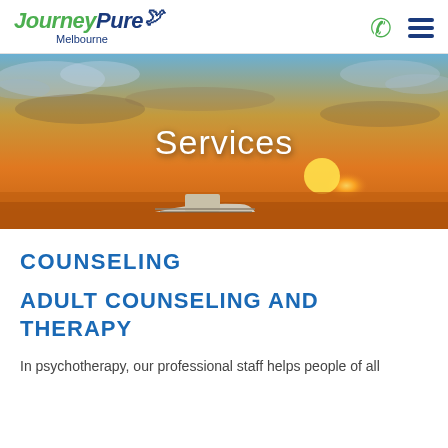[Figure (logo): JourneyPure Melbourne logo with green italic 'Journey', blue italic 'Pure', blue bird icon, and 'Melbourne' subtitle]
[Figure (photo): Dramatic sunset over water with a small boat in the foreground, golden and orange sky with clouds, overlaid with the text 'Services']
Services
COUNSELING
ADULT COUNSELING AND THERAPY
In psychotherapy, our professional staff helps people of all